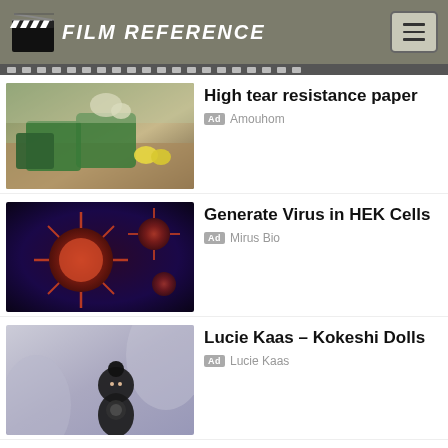FILM REFERENCE
[Figure (photo): Advertisement thumbnail: green fabric bags on wooden table with flowers and lemons]
High tear resistance paper
Ad  Amouhom
[Figure (photo): Advertisement thumbnail: 3D rendered virus cells on dark purple background]
Generate Virus in HEK Cells
Ad  Mirus Bio
[Figure (photo): Advertisement thumbnail: Kokeshi doll figurine on grey fabric background]
Lucie Kaas – Kokeshi Dolls
Ad  Lucie Kaas
[Figure (photo): Advertisement thumbnail: woman's face on tan/brown background]
Marlo Laz Fine Jewelry
Ad  Marlo Laz